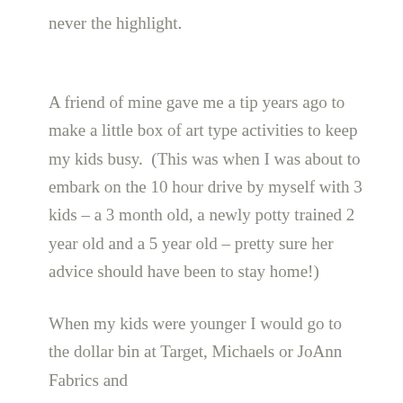never the highlight.
A friend of mine gave me a tip years ago to make a little box of art type activities to keep my kids busy.  (This was when I was about to embark on the 10 hour drive by myself with 3 kids – a 3 month old, a newly potty trained 2 year old and a 5 year old – pretty sure her advice should have been to stay home!)
When my kids were younger I would go to the dollar bin at Target, Michaels or JoAnn Fabrics and